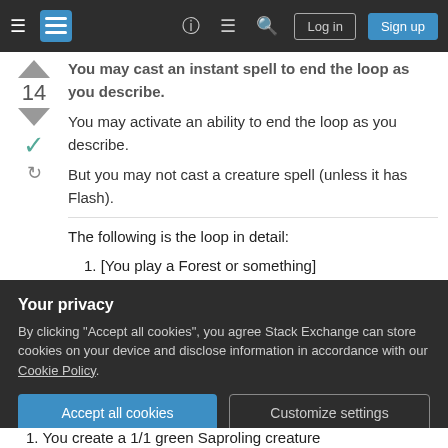Stack Exchange navigation bar with hamburger menu, logo, help, chat, search icons, Log in and Sign up buttons
You may cast an instant spell to end the loop as you describe.
You may activate an ability to end the loop as you describe.
But you may not cast a creature spell (unless it has Flash).
The following is the loop in detail:
1. [You play a Forest or something]
1. You create a 1/1 green Saproling creature
Your privacy
By clicking "Accept all cookies", you agree Stack Exchange can store cookies on your device and disclose information in accordance with our Cookie Policy.
Accept all cookies  Customize settings